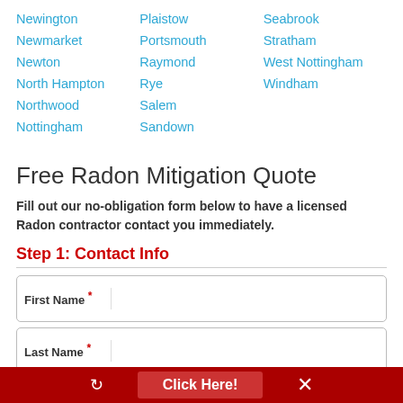Newington
Newmarket
Newton
North Hampton
Northwood
Nottingham
Plaistow
Portsmouth
Raymond
Rye
Salem
Sandown
Seabrook
Stratham
West Nottingham
Windham
Free Radon Mitigation Quote
Fill out our no-obligation form below to have a licensed Radon contractor contact you immediately.
Step 1: Contact Info
First Name *
Last Name *